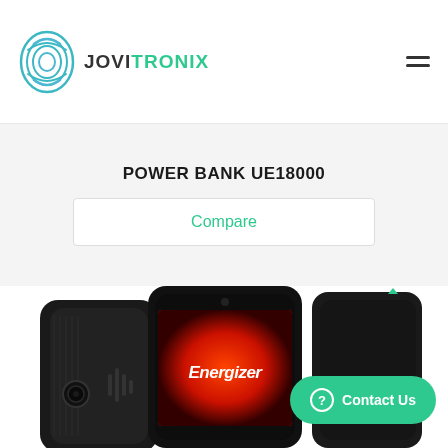JOVITRONIX
POWER BANK UE18000
Compare
[Figure (photo): Product photo showing multiple angles of Energizer-branded black power bank / smartphone devices. The center device displays a red Energizer logo screen. Devices are shown front, back, and side views against a white background.]
Contact Us